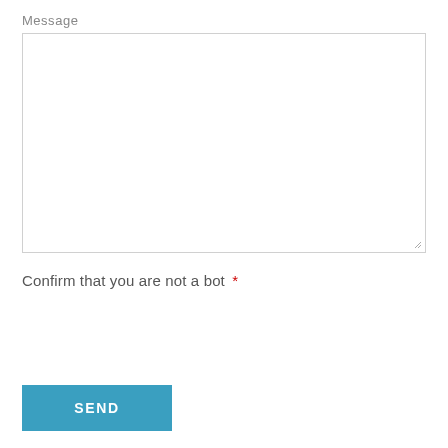Message
[Figure (screenshot): Empty message textarea input box with a resize handle at the bottom right corner]
Confirm that you are not a bot *
[Figure (screenshot): SEND button, teal/blue colored rectangular button with white bold text 'SEND']